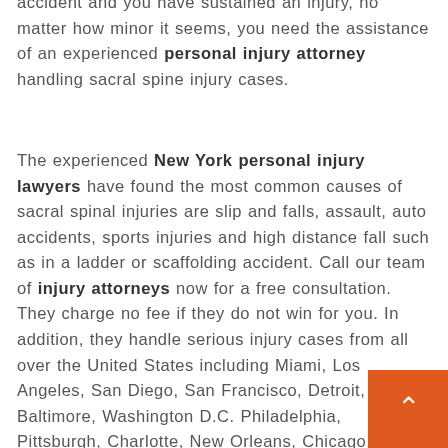accident and you have sustained an injury, no matter how minor it seems, you need the assistance of an experienced personal injury attorney handling sacral spine injury cases.
The experienced New York personal injury lawyers have found the most common causes of sacral spinal injuries are slip and falls, assault, auto accidents, sports injuries and high distance fall such as in a ladder or scaffolding accident. Call our team of injury attorneys now for a free consultation. They charge no fee if they do not win for you. In addition, they handle serious injury cases from all over the United States including Miami, Los Angeles, San Diego, San Francisco, Detroit, Baltimore, Washington D.C. Philadelphia, Pittsburgh, Charlotte, New Orleans, Chicago, Nashville, Little Rock, Boston a Memphis